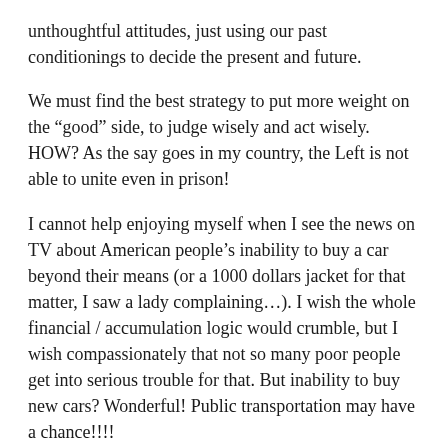unthoughtful attitudes, just using our past conditionings to decide the present and future.
We must find the best strategy to put more weight on the “good” side, to judge wisely and act wisely. HOW? As the say goes in my country, the Left is not able to unite even in prison!
I cannot help enjoying myself when I see the news on TV about American people’s inability to buy a car beyond their means (or a 1000 dollars jacket for that matter, I saw a lady complaining…). I wish the whole financial / accumulation logic would crumble, but I wish compassionately that not so many poor people get into serious trouble for that. But inability to buy new cars? Wonderful! Public transportation may have a chance!!!!
(but I doubt it…)